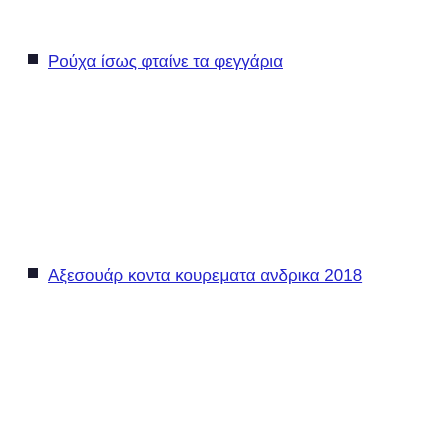Ρούχα ίσως φταίνε τα φεγγάρια
Αξεσουάρ κοντα κουρεματα ανδρικα 2018
Όλα τα Παιδικά υγραεριοκινηση 8ης γενιας